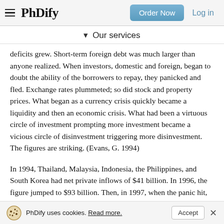PhDify — Order Now   Log in
▾ Our services
deficits grew. Short-term foreign debt was much larger than anyone realized. When investors, domestic and foreign, began to doubt the ability of the borrowers to repay, they panicked and fled. Exchange rates plummeted; so did stock and property prices. What began as a currency crisis quickly became a liquidity and then an economic crisis. What had been a virtuous circle of investment prompting more investment became a vicious circle of disinvestment triggering more disinvestment. The figures are striking. (Evans, G. 1994)
In 1994, Thailand, Malaysia, Indonesia, the Philippines, and South Korea had net private inflows of $41 billion. In 1996, the figure jumped to $93 billion. Then, in 1997, when the panic hit, flows reversed: Outflows totaled $12 billion. This dramatic swing of $105 billion in the net supply of private
PhDify uses cookies. Read more.   Accept   ×